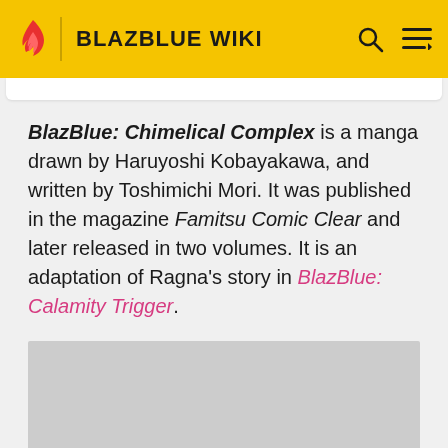BLAZBLUE WIKI
BlazBlue: Chimelical Complex is a manga drawn by Haruyoshi Kobayakawa, and written by Toshimichi Mori. It was published in the magazine Famitsu Comic Clear and later released in two volumes. It is an adaptation of Ragna's story in BlazBlue: Calamity Trigger.
[Figure (photo): Gray placeholder image area for manga cover or related artwork]